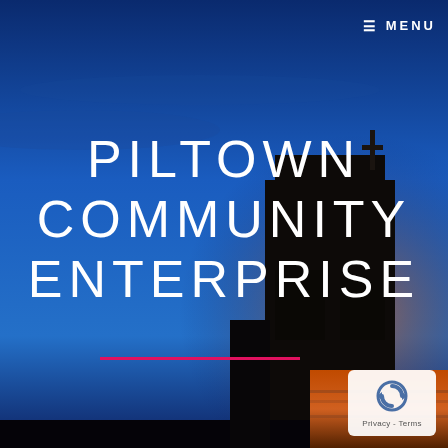[Figure (photo): Night/dusk photograph of a building silhouette with warm orange lighting at its base against a deep blue sky. A figure or cross appears on top of the building.]
≡ MENU
PILTOWN COMMUNITY ENTERPRISE
[Figure (logo): reCAPTCHA Privacy - Terms badge in bottom right corner, white background with blue/grey circular arrow logo]